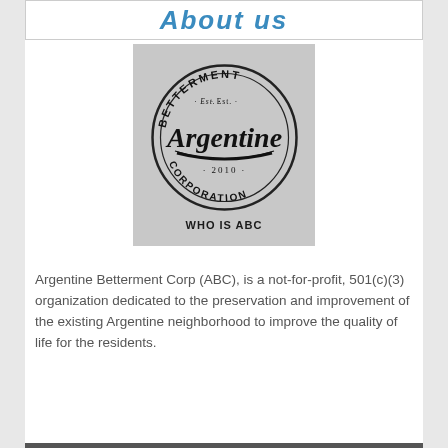About us
[Figure (logo): Argentine Betterment Corporation circular badge logo with text 'BETTERMENT Est. Argentine CORPORATION 2010' and 'WHO IS ABC' below]
Argentine Betterment Corp (ABC), is a not-for-profit, 501(c)(3) organization dedicated to the preservation and improvement of the existing Argentine neighborhood to improve the quality of life for the residents.